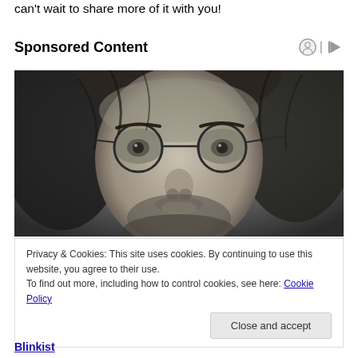can't wait to share more of it with you!
Sponsored Content
[Figure (photo): Close-up black and white portrait of a young man with long hair and round wire-rimmed glasses, looking slightly upward]
Privacy & Cookies: This site uses cookies. By continuing to use this website, you agree to their use.
To find out more, including how to control cookies, see here: Cookie Policy
Close and accept
Blinkist